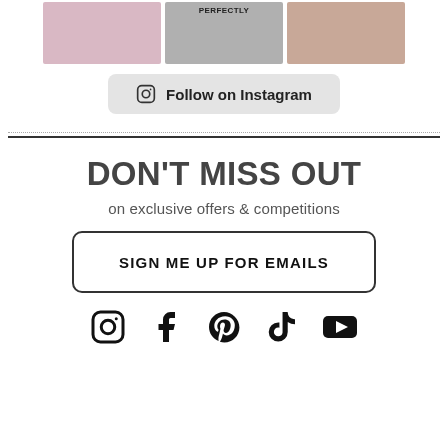[Figure (photo): Three Instagram post thumbnail images side by side: left shows pink balloon arrangement, center shows a black-and-white image with 'PERFECTLY' text and a heart emoji, right shows a child in a cartoon fox costume]
[Figure (other): Follow on Instagram button with Instagram icon]
DON'T MISS OUT
on exclusive offers & competitions
SIGN ME UP FOR EMAILS
[Figure (other): Social media icons row: Instagram, Facebook, Pinterest, TikTok, YouTube]